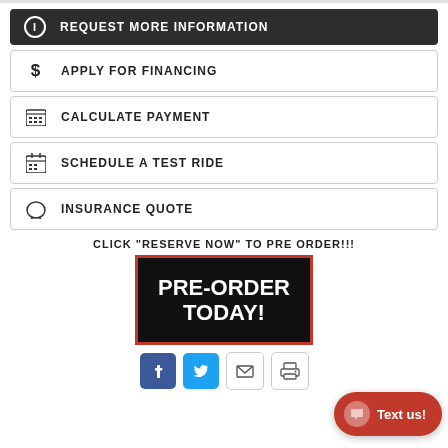REQUEST MORE INFORMATION
APPLY FOR FINANCING
CALCULATE PAYMENT
SCHEDULE A TEST RIDE
INSURANCE QUOTE
CLICK "RESERVE NOW" TO PRE ORDER!!!
[Figure (other): PRE-ORDER TODAY! banner with red border on black background]
[Figure (other): Social sharing icons: Facebook, Twitter, Email, Print. Red 'Text us!' chat button in bottom right.]